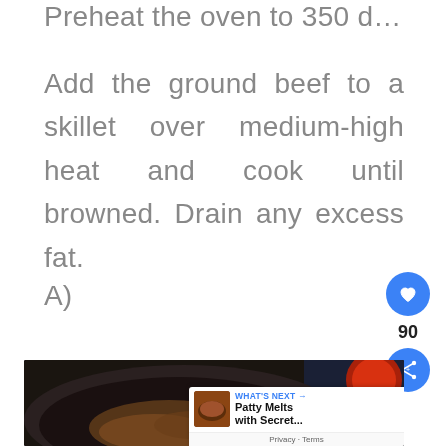Preheat the oven to 350 degrees.
Add the ground beef to a skillet over medium-high heat and cook until browned. Drain any excess fat.
A)
[Figure (photo): A cast iron skillet with ground beef browning, partially cooked, on a dark surface with a tomato visible in the background. An overlay shows a 'What's Next' panel for 'Patty Melts with Secret...' with a heart icon showing 90 likes and a share button.]